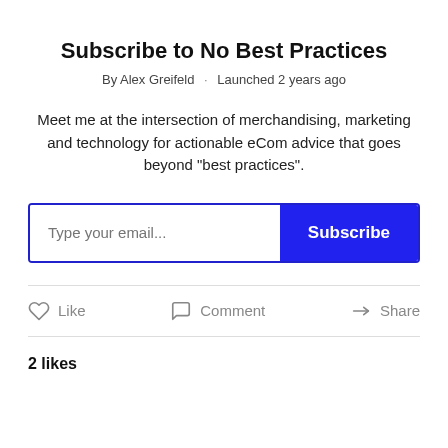Subscribe to No Best Practices
By Alex Greifeld · Launched 2 years ago
Meet me at the intersection of merchandising, marketing and technology for actionable eCom advice that goes beyond "best practices".
Type your email... Subscribe
Like   Comment   Share
2 likes